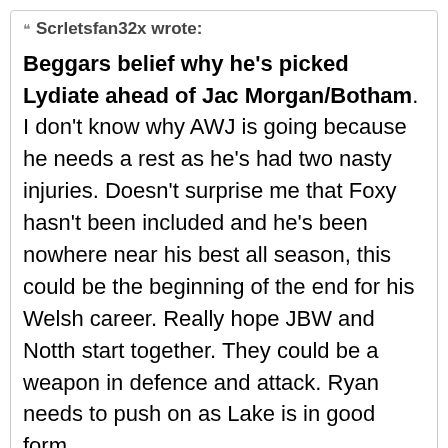Scrletsfan32x wrote:
Beggars belief why he's picked Lydiate ahead of Jac Morgan/Botham. I don't know why AWJ is going because he needs a rest as he's had two nasty injuries. Doesn't surprise me that Foxy hasn't been included and he's been nowhere near his best all season, this could be the beginning of the end for his Welsh career. Really hope JBW and Notth start together. They could be a weapon in defence and attack. Ryan needs to push on as Lake is in good form.
Lydiate is the most physical blindside in Wales and will chop down anyone that runs at him on the gain line no matter how big and powerful, and they will be very big and powerful in SA. That's clearly why he's been picked. The question is is his level of...